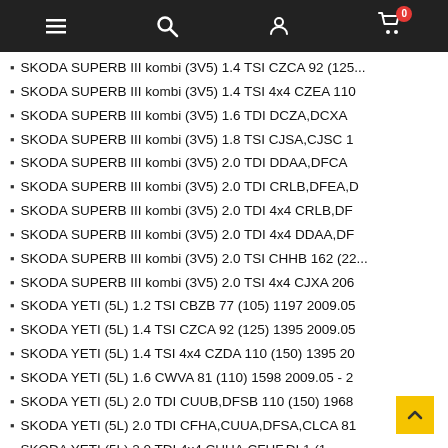Navigation bar with menu, search, account, and cart icons
SKODA SUPERB III kombi (3V5) 1.4 TSI CZCA 92 (125...
SKODA SUPERB III kombi (3V5) 1.4 TSI 4x4 CZEA 110
SKODA SUPERB III kombi (3V5) 1.6 TDI DCZA,DCXA
SKODA SUPERB III kombi (3V5) 1.8 TSI CJSA,CJSC 1
SKODA SUPERB III kombi (3V5) 2.0 TDI DDAA,DFCA
SKODA SUPERB III kombi (3V5) 2.0 TDI CRLB,DFEA,D
SKODA SUPERB III kombi (3V5) 2.0 TDI 4x4 CRLB,DF
SKODA SUPERB III kombi (3V5) 2.0 TDI 4x4 DDAA,DF
SKODA SUPERB III kombi (3V5) 2.0 TSI CHHB 162 (22...
SKODA SUPERB III kombi (3V5) 2.0 TSI 4x4 CJXA 206
SKODA YETI (5L) 1.2 TSI CBZB 77 (105) 1197 2009.05
SKODA YETI (5L) 1.4 TSI CZCA 92 (125) 1395 2009.05
SKODA YETI (5L) 1.4 TSI 4x4 CZDA 110 (150) 1395 20
SKODA YETI (5L) 1.6 CWVA 81 (110) 1598 2009.05 - 2
SKODA YETI (5L) 2.0 TDI CUUB,DFSB 110 (150) 1968
SKODA YETI (5L) 2.0 TDI CFHA,CUUA,DFSA,CLCA 81
SKODA YETI (5L) 2.0 TDI 4x4 CUUA,CFHF,DI... 1 (1...
SKODA YETI (5L) 2.0 TDI 4x4 CUUB,DFSB 11... (0)
AUDI A1 (8X1, 8XK) 1.8 TFSI DAJB 141 (192) 1798 201